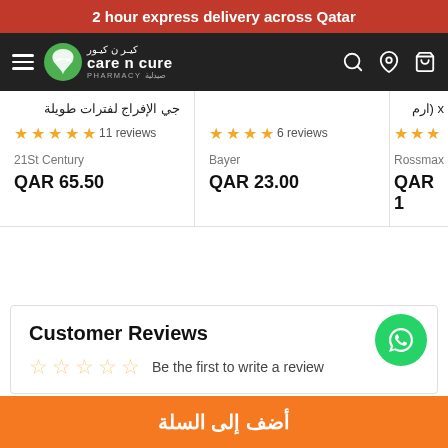2 hour express delivery across Qatar
[Figure (logo): Care n Cure Pharmacy logo with navigation bar]
جي الإفراج لفترات طويلة — 11 reviews — 21St Century — QAR 65.50
6 reviews — Bayer — QAR 23.00
x (ارم — Rossmax — QAR 1...
Customer Reviews
Be the first to write a review
أضف إلى السلة